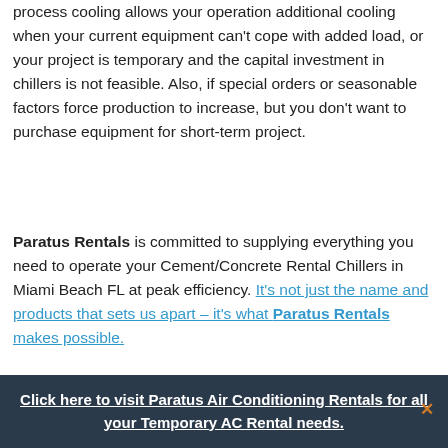process cooling allows your operation additional cooling when your current equipment can't cope with added load, or your project is temporary and the capital investment in chillers is not feasible. Also, if special orders or seasonable factors force production to increase, but you don't want to purchase equipment for short-term project.
Paratus Rentals is committed to supplying everything you need to operate your Cement/Concrete Rental Chillers in Miami Beach FL at peak efficiency. It's not just the name and products that sets us apart – it's what Paratus Rentals makes possible.
Click here to visit Paratus Air Conditioning Rentals for all your Temporary AC Rental needs.